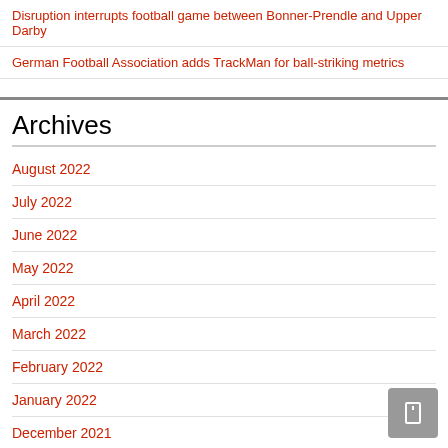Disruption interrupts football game between Bonner-Prendle and Upper Darby
German Football Association adds TrackMan for ball-striking metrics
Archives
August 2022
July 2022
June 2022
May 2022
April 2022
March 2022
February 2022
January 2022
December 2021
November 2021